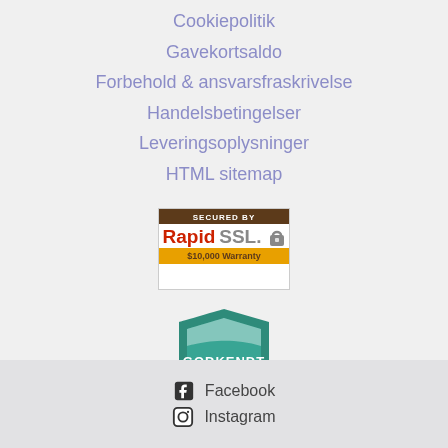Cookiepolitik
Gavekortsaldo
Forbehold & ansvarsfraskrivelse
Handelsbetingelser
Leveringsoplysninger
HTML sitemap
[Figure (logo): RapidSSL Secured By badge with $10,000 Warranty text]
[Figure (logo): Godkendt Webshop Mærket shield badge]
Facebook
Instagram